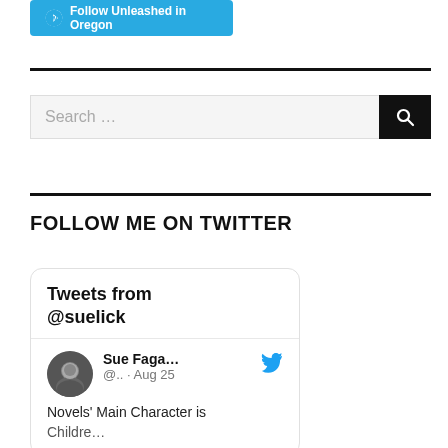[Figure (logo): WordPress Follow button: blue rounded rectangle with WordPress logo and text 'Follow Unleashed in Oregon']
[Figure (screenshot): Search bar with placeholder text 'Search ...' and a black search icon button on the right]
FOLLOW ME ON TWITTER
[Figure (screenshot): Twitter widget card showing 'Tweets from @suelick' header, followed by a tweet from Sue Faga... (@.. · Aug 25) with Twitter bird icon, and tweet text 'Novels' Main Character is [continues below]']
Novels' Main Character is